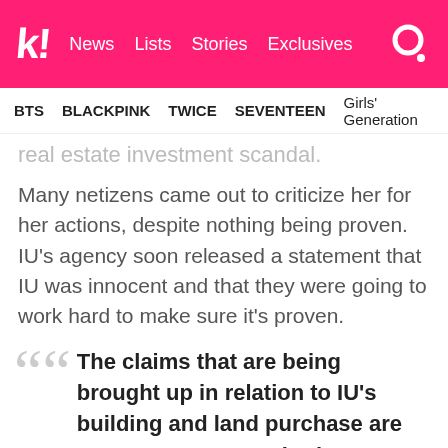koreaboo! News Lists Stories Exclusives
BTS BLACKPINK TWICE SEVENTEEN Girls' Generation
real estate investment scandal.
Many netizens came out to criticize her for her actions, despite nothing being proven. IU's agency soon released a statement that IU was innocent and that they were going to work hard to make sure it's proven.
The claims that are being brought up in relation to IU's building and land purchase are not true. We are gathering information on various rumors and negative comments that are being spread online and evidence